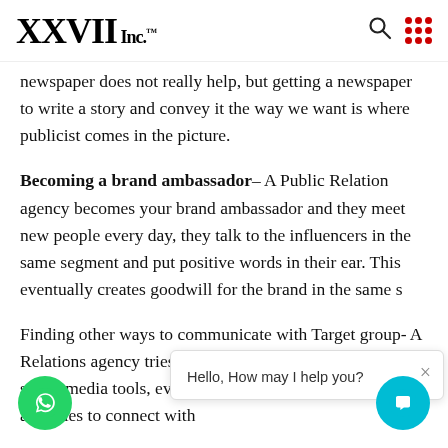XXVII Inc.™
newspaper does not really help, but getting a newspaper to write a story and convey it the way we want is where publicist comes in the picture.
Becoming a brand ambassador – A Public Relation agency becomes your brand ambassador and they meet new people every day, they talk to the influencers in the same segment and put positive words in their ear. This eventually creates goodwill for the brand in the same s[egment].
Finding other ways to communicate with Target group- A[…] Relations agency tries to find other ways e[xcept] marketing, social media tools, events participation, and other such activities to connect with